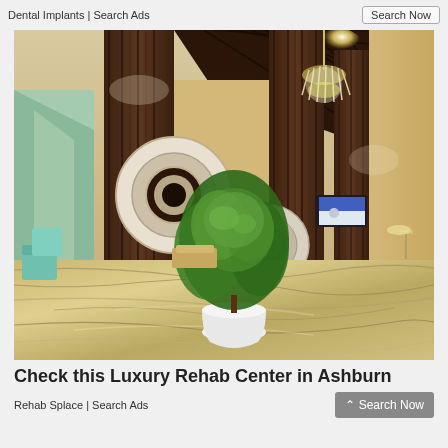Dental Implants | Search Ads
[Figure (photo): Luxury hotel or rehab center lobby with marble floors, wooden slat walls and ceiling, crystal chandelier, decorative circular wall art, potted green plant, reception desk, and ambient lighting.]
Check this Luxury Rehab Center in Ashburn
Rehab Splace | Search Ads